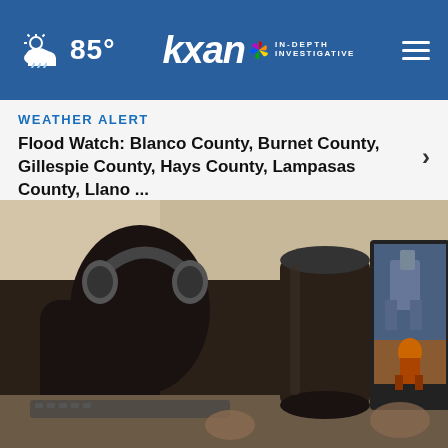85° kxan IN-DEPTH INVESTIGATIVE
WEATHER ALERT
Flood Watch: Blanco County, Burnet County, Gillespie County, Hays County, Lampasas County, Llano ...
[Figure (photo): Person wearing headphones sitting at a desk with dual monitors displaying a video game, viewed from behind]